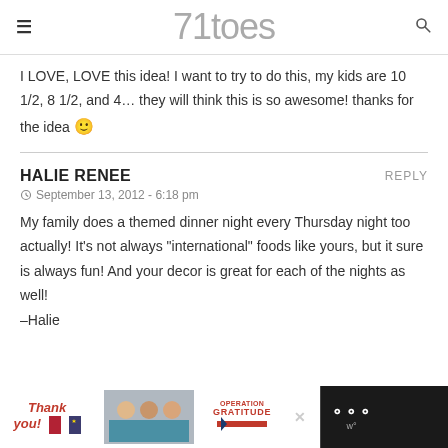71toes
I LOVE, LOVE this idea! I want to try to do this, my kids are 10 1/2, 8 1/2, and 4… they will think this is so awesome! thanks for the idea 🙂
HALIE RENEE
September 13, 2012 - 6:18 pm
My family does a themed dinner night every Thursday night too actually! It's not always "international" foods like yours, but it sure is always fun! And your decor is great for each of the nights as well!
–Halie
[Figure (infographic): Advertisement banner: Thank you image with Operation Gratitude logo and medical workers]